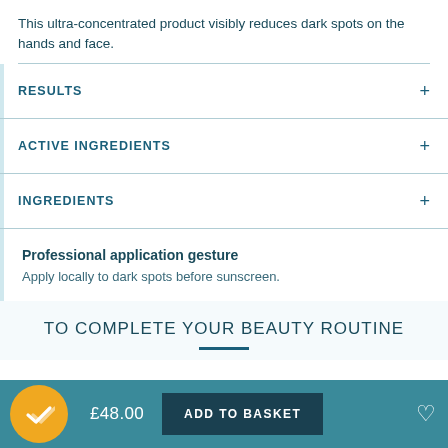This ultra-concentrated product visibly reduces dark spots on the hands and face.
RESULTS
ACTIVE INGREDIENTS
INGREDIENTS
Professional application gesture
Apply locally to dark spots before sunscreen.
TO COMPLETE YOUR BEAUTY ROUTINE
£48.00  ADD TO BASKET